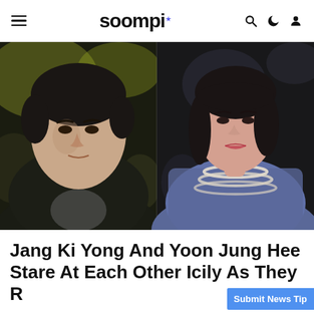soompi
[Figure (photo): Two actors in dramatic still shots side by side: on the left, a young Korean man with dark hair in a black jacket against a blurred night background; on the right, a Korean woman with a bob haircut wearing a blue floral jacket and pearl necklaces against a dark background.]
Jang Ki Yong And Yoon Jung Hee Stare At Each Other Icily As They R
Submit News Tip